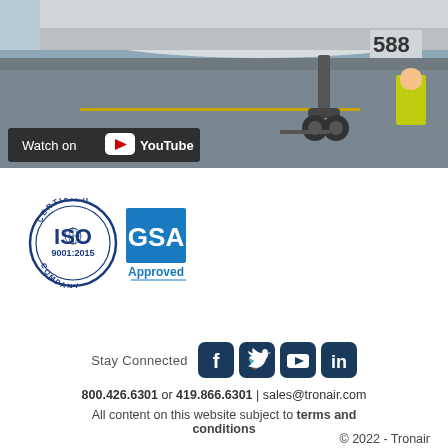[Figure (photo): Airplane on tarmac with landing gear visible, worker in yellow vest, runway in background. YouTube 'Watch on YouTube' overlay at bottom left.]
[Figure (logo): ISO 9001:2015 Certified Company circular badge]
[Figure (logo): GSA Approved square badge]
Stay Connected
800.426.6301 or 419.866.6301 | sales@tronair.com
All content on this website subject to terms and conditions
© 2022 - Tronair